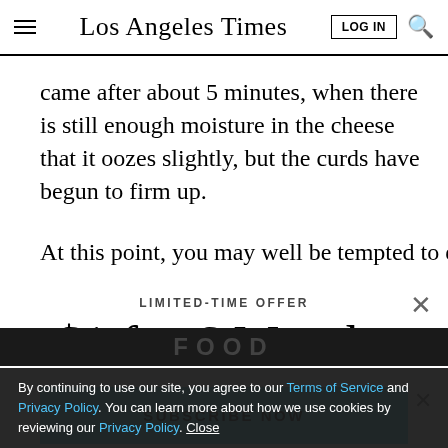Los Angeles Times
came after about 5 minutes, when there is still enough moisture in the cheese that it oozes slightly, but the curds have begun to firm up.
At this point, you may well be tempted to eat the ricotta
LIMITED-TIME OFFER
$1 for 6 Months
SUBSCRIBE NOW
By continuing to use our site, you agree to our Terms of Service and Privacy Policy. You can learn more about how we use cookies by reviewing our Privacy Policy. Close